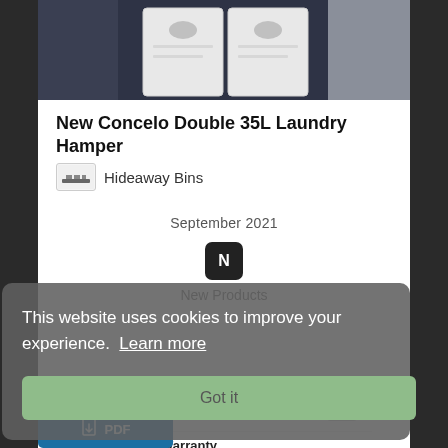[Figure (photo): Top portion of product photo showing New Concelo Double 35L Laundry Hamper in dark navy/charcoal cabinet with white hamper bags]
New Concelo Double 35L Laundry Hamper
Hideaway Bins
September 2021
New Products
This website uses cookies to improve your experience.  Learn more
Got it
Documents
Maintenance and Warranty
[Figure (other): Blue PDF download button with PDF icon]